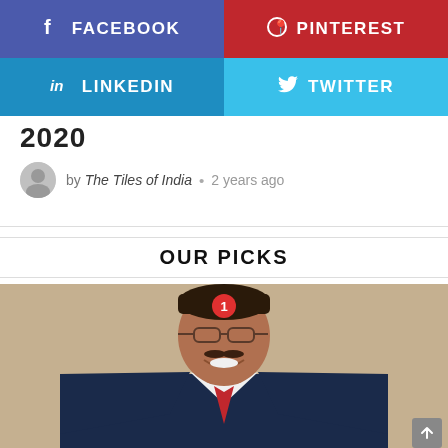[Figure (infographic): Social share buttons: Facebook (purple), Pinterest (red), LinkedIn (blue), Twitter (cyan)]
2020
by The Tiles of India • 2 years ago
OUR PICKS
[Figure (photo): Portrait photo of a middle-aged Indian man with glasses and a mustache, wearing a navy suit and red tie, smiling. A red circular badge with the number 1 is overlaid near his face.]